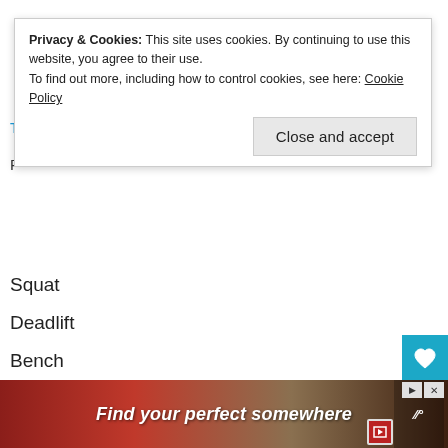Privacy & Cookies: This site uses cookies. By continuing to use this website, you agree to their use.
To find out more, including how to control cookies, see here: Cookie Policy
Squat
Deadlift
Bench
Cable Row
Kneeling Rope Curl (abdominal)
Dummbell Lunge
Every time you workout, roll the d6 for the number of sets... and the d8 for the number of reps. One workout might be Squats 3x6 (3 sets of 6 reps each), Deadlift (4-2), Bench (6-3), Cable Row (5-...) Kneeling Rope Curl (1-3) and Dumbbell Lunge (2-2). It's all random. One workout might be high, another light, but... at you need
[Figure (screenshot): Ad banner at bottom: red background with text 'Find your perfect somewhere' and a photo background. Has play button, close (X) icons.]